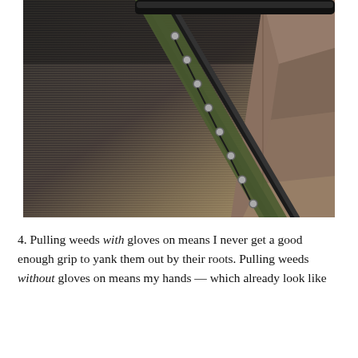[Figure (photo): Close-up photograph of a woven outdoor rug/mat in dark gray and tan colors, with a black metal frame or furniture piece with green fabric and metal eyelets along its edge, resting on a stone paver patio.]
4. Pulling weeds with gloves on means I never get a good enough grip to yank them out by their roots. Pulling weeds without gloves on means my hands — which already look like